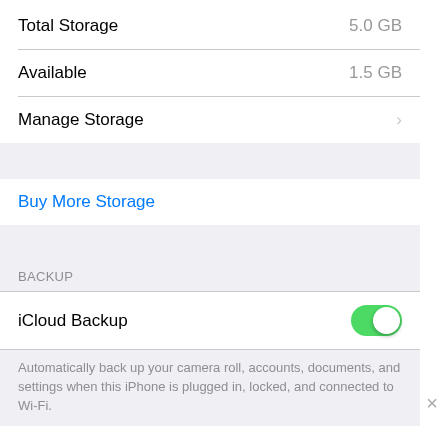Total Storage   5.0 GB
Available   1.5 GB
Manage Storage
Buy More Storage
BACKUP
iCloud Backup  [toggle ON]
Automatically back up your camera roll, accounts, documents, and settings when this iPhone is plugged in, locked, and connected to Wi-Fi.